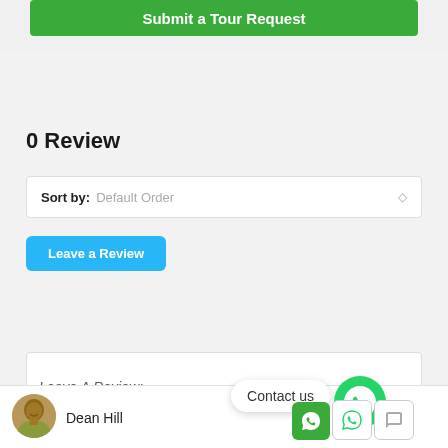Submit a Tour Request
0 Review
Sort by: Default Order
Leave a Review
Leave A Review:
Dean Hill
Contact us